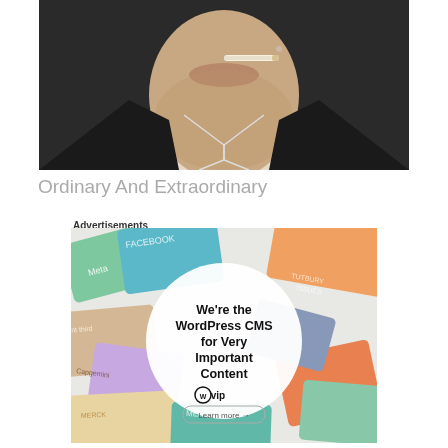[Figure (photo): Close-up photo of a person in a black jacket and white shirt with a cigarette in their mouth, cropped at chin level.]
Ordinary And Extraordinary
Advertisements
[Figure (illustration): WordPress VIP advertisement. White circular overlay on colorful background of overlapping cards with brand names (Meta, Facebook, Capgemini, Merck, etc.). Text reads: We're the WordPress CMS for Very Important Content, with WordPress VIP logo and a Learn more button.]